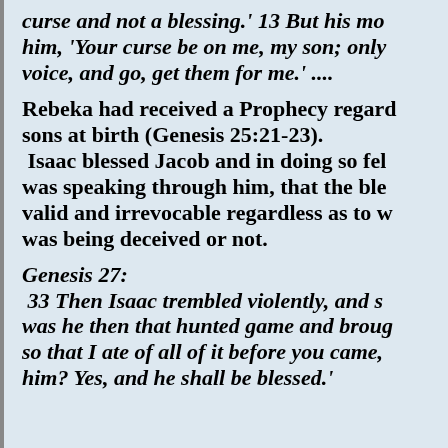curse and not a blessing.' 13 But his mo... him, 'Your curse be on me, my son; only voice, and go, get them for me.' ....
Rebeka had received a Prophecy regard... sons at birth (Genesis 25:21-23). Isaac blessed Jacob and in doing so fel... was speaking through him, that the ble... valid and irrevocable regardless as to w... was being deceived or not.
Genesis 27: 33 Then Isaac trembled violently, and s... was he then that hunted game and broug... so that I ate of all of it before you came, him? Yes, and he shall be blessed.'